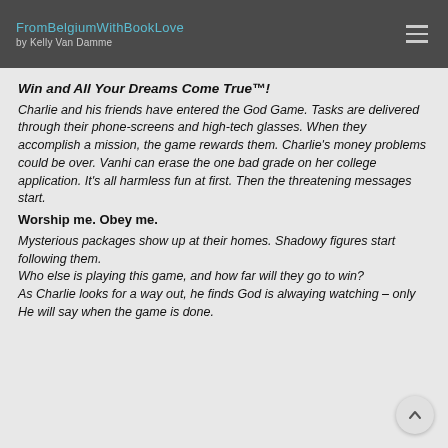FromBelgiumWithBookLove by Kelly Van Damme
Win and All Your Dreams Come True™!
Charlie and his friends have entered the God Game. Tasks are delivered through their phone-screens and high-tech glasses. When they accomplish a mission, the game rewards them. Charlie's money problems could be over. Vanhi can erase the one bad grade on her college application. It's all harmless fun at first. Then the threatening messages start.
Worship me. Obey me.
Mysterious packages show up at their homes. Shadowy figures start following them. Who else is playing this game, and how far will they go to win? As Charlie looks for a way out, he finds God is always watching – only He will say when the game is done.